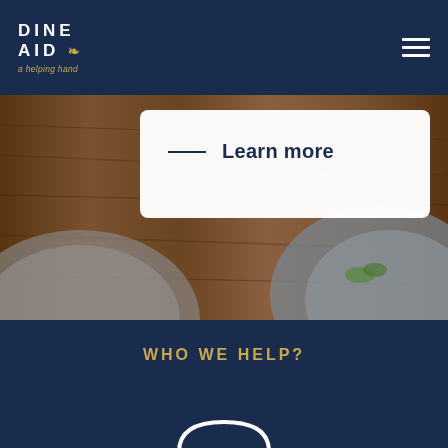[Figure (logo): Dine Aid logo with tagline 'a helping hand' in navy blue navigation bar]
[Figure (illustration): Hamburger menu icon (three horizontal white lines) in top right of navy navigation bar]
[Figure (photo): Hero background photo showing wooden surface with bowls/plates of food]
Learn more
WHO WE HELP?
[Figure (illustration): White outline burger/sandwich icon on navy blue background]